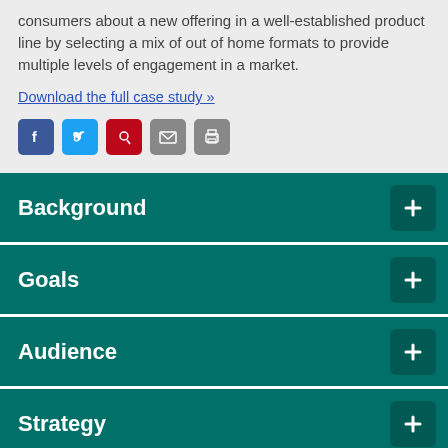consumers about a new offering in a well-established product line by selecting a mix of out of home formats to provide multiple levels of engagement in a market.
Download the full case study »
[Figure (other): Social media sharing icons: Facebook, Twitter, Pinterest, Email, Print]
Background
Goals
Audience
Strategy
Results